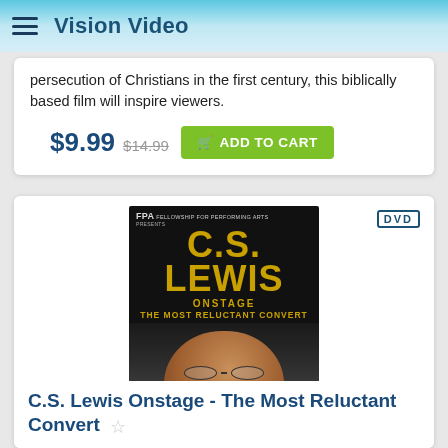Vision Video
persecution of Christians in the first century, this biblically based film will inspire viewers.
$9.99 $14.99 ADD TO CART
[Figure (photo): DVD cover for C.S. Lewis Onstage - The Most Reluctant Convert, featuring Max McLean as C.S. Lewis. FPA Fellowship for Performing Arts presents. Gold title text. Man in suit looking upward. 4 stars. Quotes: 'HIGHLY-ENTERTAINING.' Chicago Tribune, 'HUGELY MOVING.' Washington Post. DVD badge in top right.]
C.S. Lewis Onstage - The Most Reluctant Convert